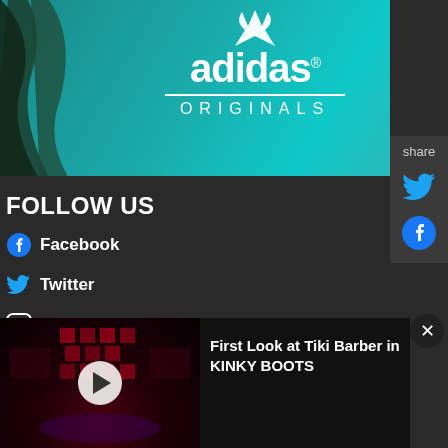[Figure (logo): Adidas Originals logo on teal/turquoise background with palm leaf silhouette]
[Figure (infographic): Share panel with Twitter and Facebook icons on dark grey background with 'share' label]
FOLLOW US
Facebook
Twitter
Instagram
[Figure (screenshot): Video thumbnail showing dark stage with red lighting for Kinky Boots with play button]
First Look at Tiki Barber in KINKY BOOTS